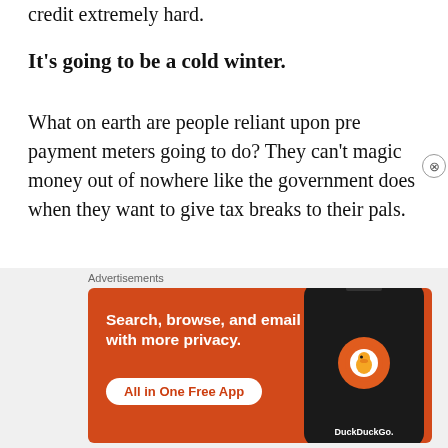credit extremely hard.
It's going to be a cold winter.
What on earth are people reliant upon pre payment meters going to do? They can't magic money out of nowhere like the government does when they want to give tax breaks to their pals.
Their only option will be to use coats, bedding and just about anything they can find to keep
[Figure (screenshot): DuckDuckGo advertisement banner: orange background with text 'Search, browse, and email with more privacy. All in One Free App' and a phone image showing the DuckDuckGo logo.]